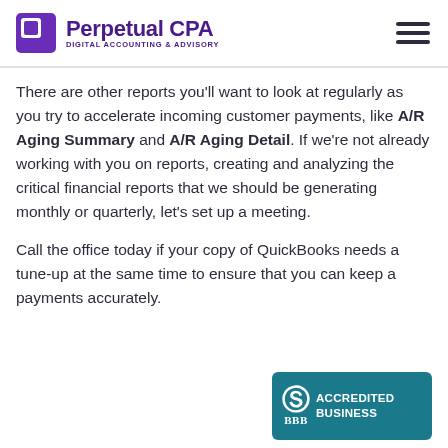Perpetual CPA - Digital Accounting & Advisory
There are other reports you'll want to look at regularly as you try to accelerate incoming customer payments, like A/R Aging Summary and A/R Aging Detail. If we're not already working with you on reports, creating and analyzing the critical financial reports that we should be generating monthly or quarterly, let's set up a meeting.
Call the office today if your copy of QuickBooks needs a tune-up at the same time to ensure that you can keep a payments accurately.
[Figure (logo): BBB Accredited Business badge - teal background with S symbol and BBB text]